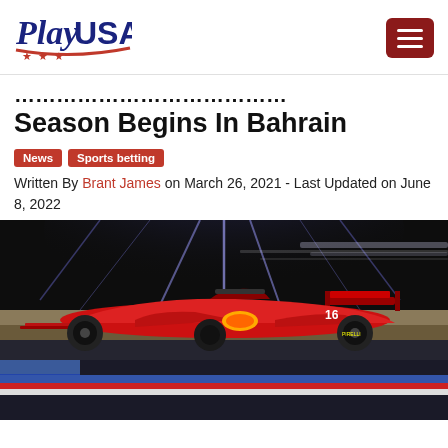PlayUSA logo and navigation
Season Begins In Bahrain
News
Sports betting
Written By Brant James on March 26, 2021 - Last Updated on June 8, 2022
[Figure (photo): A red Ferrari Formula 1 car (number 16) racing at night at the Bahrain International Circuit, with blurred background lights and track barriers visible.]